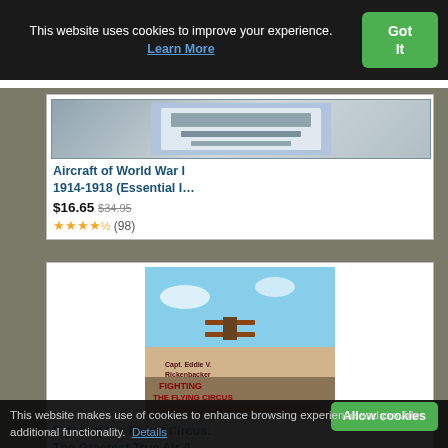This website uses cookies to improve your experience. Learn More
Got It
[Figure (illustration): Book cover thumbnail for Aircraft of World War I 1914-1918]
Aircraft of World War I 1914-1918 (Essential I…
$16.65  $34.95
★★★★½ (98)
[Figure (illustration): Book cover for Fighting the Flying Circus showing WWI biplanes in combat]
Fighting the Flying Circus: The Greatest True Air A…
Imperial College of Science, London. He temporary second lieutenant on 22 Sept Flying Corps. As an F.E.2d pilot, he scor action on 18 September 1917. He was g Flying Officer on 1 August 1919.
Listed in 1901 census as living in Kew, G
[Figure (photo): Black and white historical photograph of a person]
[Figure (photo): Black and white historical photograph of two people outdoors]
[Figure (photo): Partially visible black and white historical photograph]
This website makes use of cookies to enhance browsing experience and provide additional functionality.  Details
Allow cookies
(65)